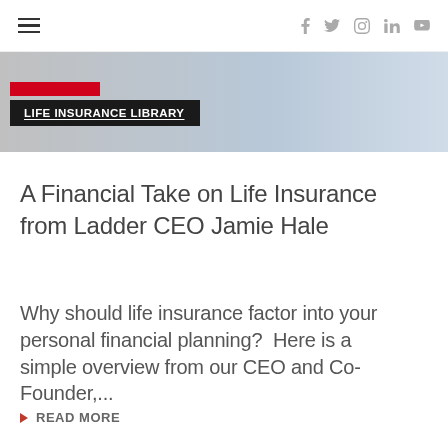☰  f  🐦  📷  in  ▶
[Figure (photo): Partial hero image showing a man in a light blue shirt with a red label overlay and a dark banner reading 'LIFE INSURANCE LIBRARY']
A Financial Take on Life Insurance from Ladder CEO Jamie Hale
Why should life insurance factor into your personal financial planning?  Here is a simple overview from our CEO and Co-Founder,...
▶ READ MORE